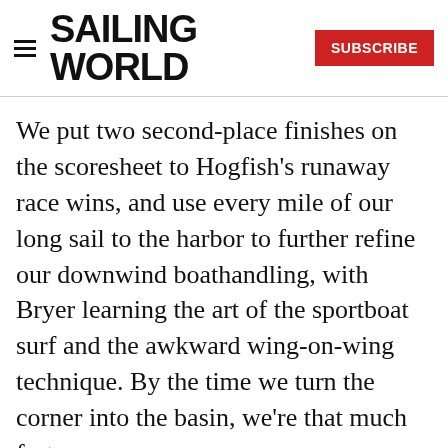SAILING WORLD
We put two second-place finishes on the scoresheet to Hogfish’s runaway race wins, and use every mile of our long sail to the harbor to further refine our downwind boathandling, with Bryer learning the art of the sportboat surf and the awkward wing-on-wing technique. By the time we turn the corner into the basin, we’re that much faster.
[Figure (photo): Partial photo visible at bottom of page, light blue-grey sky/water tones]